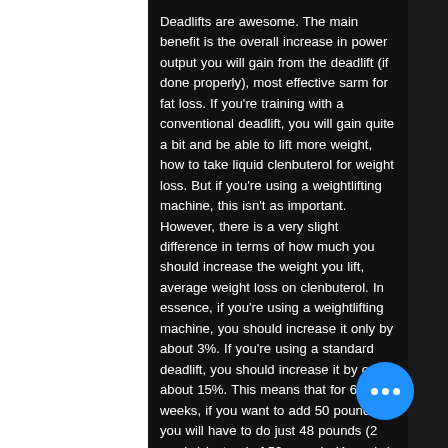Deadlifts are awesome. The main benefit is the overall increase in power output you will gain from the deadlift (if done properly), most effective sarm for fat loss. If you're training with a conventional deadlift, you will gain quite a bit and be able to lift more weight, how to take liquid clenbuterol for weight loss. But if you're using a weightlifting machine, this isn't as important. However, there is a very slight difference in terms of how much you should increase the weight you lift, average weight loss on clenbuterol. In essence, if you're using a weightlifting machine, you should increase it only by about 3%. If you're using a standard deadlift, you should increase it by only about 15%. This means that for 6-8 weeks, if you want to add 50 pounds, you will have to do just 48 pounds (2 weeks) instead of 52 pounds (4 weeks), gain muscle reddit loss sarms best fat for.